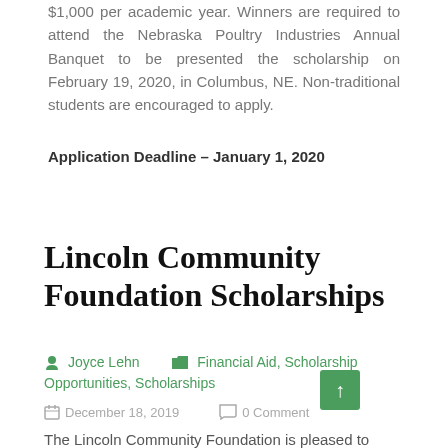$1,000 per academic year. Winners are required to attend the Nebraska Poultry Industries Annual Banquet to be presented the scholarship on February 19, 2020, in Columbus, NE. Non-traditional students are encouraged to apply.
Application Deadline – January 1, 2020
Lincoln Community Foundation Scholarships
Joyce Lehn   Financial Aid, Scholarship Opportunities, Scholarships
December 18, 2019   0 Comment
The Lincoln Community Foundation is pleased to